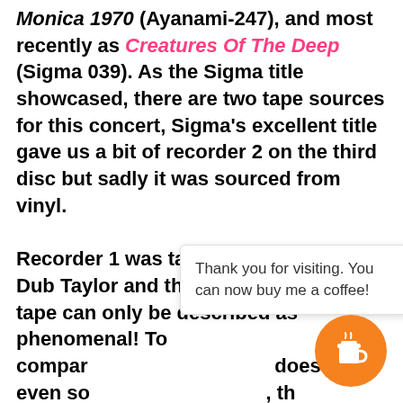Monica 1970 (Ayanami-247), and most recently as Creatures Of The Deep (Sigma 039). As the Sigma title showcased, there are two tape sources for this concert, Sigma's excellent title gave us a bit of recorder 2 on the third disc but sadly it was sourced from vinyl.

Recorder 1 was taped by the legendary Dub Taylor and this new version of the tape can only be described as phenomenal! To compare does not even so l, th bright a und if a layer of rust has been removed and a
Thank you for visiting. You can now buy me a coffee!
[Figure (illustration): Orange circular coffee button with a coffee cup icon]